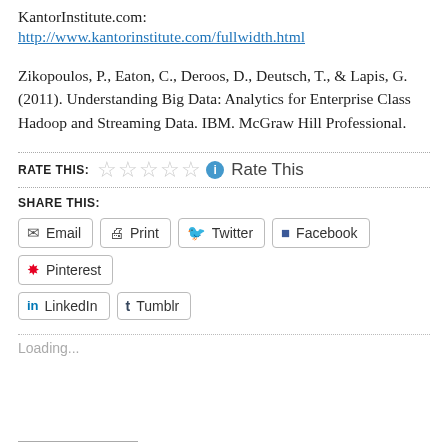KantorInstitute.com:
http://www.kantorinstitute.com/fullwidth.html
Zikopoulos, P., Eaton, C., Deroos, D., Deutsch, T., & Lapis, G. (2011). Understanding Big Data: Analytics for Enterprise Class Hadoop and Streaming Data. IBM. McGraw Hill Professional.
RATE THIS: ☆☆☆☆☆ ℹ Rate This
SHARE THIS:
Email  Print  Twitter  Facebook  Pinterest  LinkedIn  Tumblr
Loading...